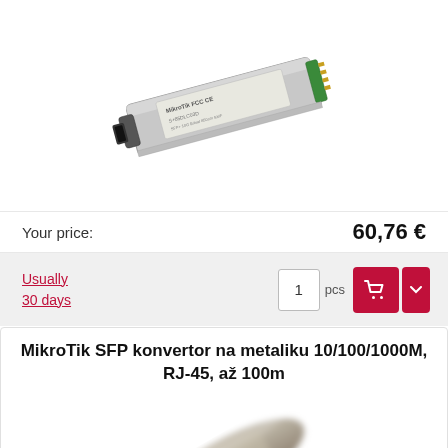[Figure (photo): MikroTik SFP transceiver module, silver/metallic housing with green connector, FCC CE markings visible on top label]
Your price:	60,76 €
Usually
30 days
MikroTik SFP konvertor na metaliku 10/100/1000M, RJ-45, až 100m
[Figure (photo): MikroTik SFP copper converter module, cylindrical metallic body with dark end cap, slightly blurred]
Your price:	30,4